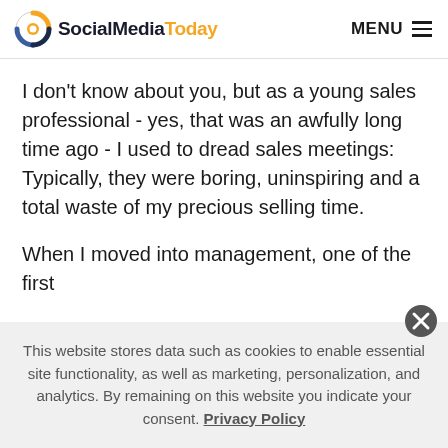SocialMediaToday — MENU
I don't know about you, but as a young sales professional - yes, that was an awfully long time ago - I used to dread sales meetings: Typically, they were boring, uninspiring and a total waste of my precious selling time.
When I moved into management, one of the first
This website stores data such as cookies to enable essential site functionality, as well as marketing, personalization, and analytics. By remaining on this website you indicate your consent. Privacy Policy